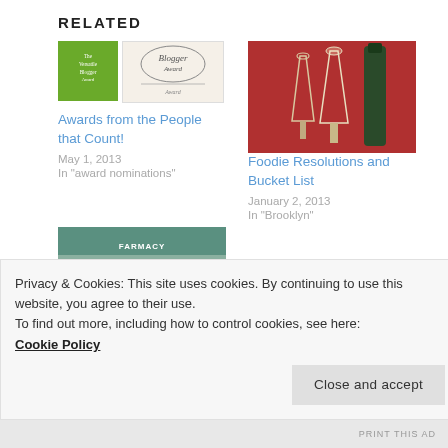RELATED
[Figure (illustration): Two blogger award images: a green badge reading 'The Versatile Blogger' and a sketched 'Blogger Award' certificate]
Awards from the People that Count!
May 1, 2013
In "award nominations"
[Figure (photo): Champagne flutes and wine bottle on red background]
Foodie Resolutions and Bucket List
January 2, 2013
In "Brooklyn"
[Figure (photo): Exterior of a pharmacy storefront with teal/green awning and red door elements]
Privacy & Cookies: This site uses cookies. By continuing to use this website, you agree to their use.
To find out more, including how to control cookies, see here: Cookie Policy
Close and accept